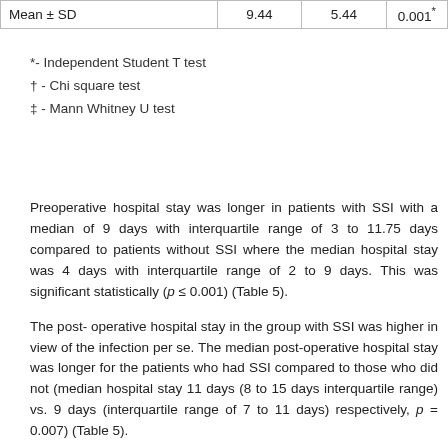|  |  |  |  |
| --- | --- | --- | --- |
| Mean ± SD | 9.44 | 5.44 | 0.001* |
*- Independent Student T test
† - Chi square test
‡ - Mann Whitney U test
Preoperative hospital stay was longer in patients with SSI with a median of 9 days with interquartile range of 3 to 11.75 days compared to patients without SSI where the median hospital stay was 4 days with interquartile range of 2 to 9 days. This was significant statistically (p ≤ 0.001) (Table 5).
The post- operative hospital stay in the group with SSI was higher in view of the infection per se. The median post-operative hospital stay was longer for the patients who had SSI compared to those who did not (median hospital stay 11 days (8 to 15 days interquartile range) vs. 9 days (interquartile range of 7 to 11 days) respectively, p = 0.007) (Table 5).
The total hospital stay was also higher in patients with SSI, 21.49 days